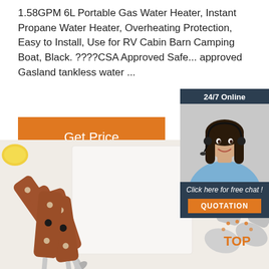1.58GPM 6L Portable Gas Water Heater, Instant Propane Water Heater, Overheating Protection, Easy to Install, Use for RV Cabin Barn Camping Boat, Black. ????CSA Approved Safe... approved Gasland tankless water ...
[Figure (other): Orange 'Get Price' button]
[Figure (other): 24/7 Online chat widget with photo of woman wearing headset, 'Click here for free chat!' text, and orange QUOTATION button]
[Figure (photo): Photo of kitchen utensils - multiple spoons and spatulas with wooden handles on white surface, with lemon visible]
[Figure (other): TOP badge/watermark in bottom right corner]